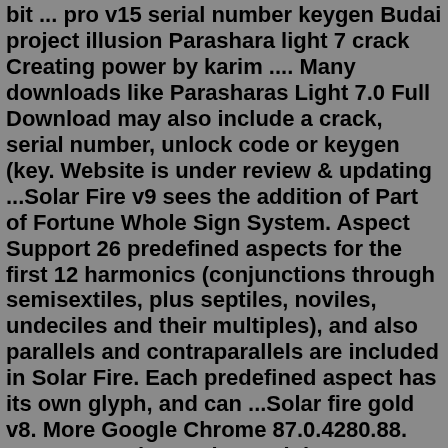bit ... pro v15 serial number keygen Budai project illusion Parashara light 7 crack Creating power by karim .... Many downloads like Parasharas Light 7.0 Full Download may also include a crack, serial number, unlock code or keygen (key. Website is under review & updating ...Solar Fire v9 sees the addition of Part of Fortune Whole Sign System. Aspect Support 26 predefined aspects for the first 12 harmonics (conjunctions through semisextiles, plus septiles, noviles, undeciles and their multiples), and also parallels and contraparallels are included in Solar Fire. Each predefined aspect has its own glyph, and can ...Solar fire gold v8. More Google Chrome 87.0.4280.88. Freeware - Chrome is a web browser developed by Google. It is characterized by its speed and many. Solar Fire Gold – New V9 Solar Fire Gold New V9 – includes Solar Maps Free! Solar Fire has been continually tested, polished, refined and elaborated since its debut in 1992. Solar Fire Astrology Cracked Addeddate 2020-03-29 09:59:51 Identifier solarfire9astrology Scanner Internet